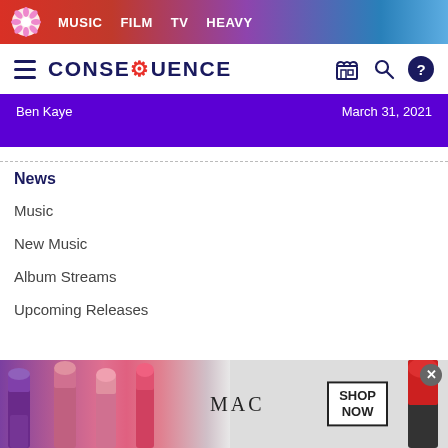MUSIC  FILM  TV  HEAVY
CONSEQUENCE
Ben Kaye    March 31, 2021
News
Music
New Music
Album Streams
Upcoming Releases
[Figure (photo): MAC Cosmetics advertisement banner showing colorful lipsticks with MAC logo and SHOP NOW button]